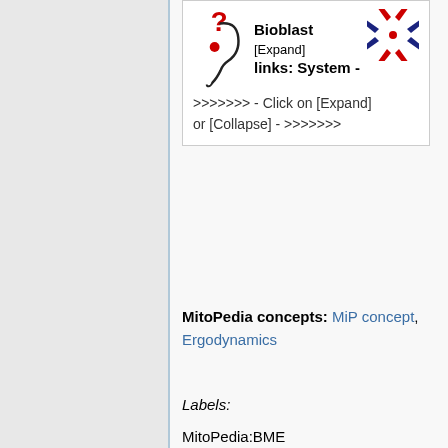[Figure (illustration): Info box with a stylized head/question mark figure on the left, bold text 'Bioblast links: System' with [Expand] label, a 4-directional arrow icon top right, and instruction text '>>>>>>> - Click on [Expand] or [Collapse] - >>>>>>>']
MitoPedia concepts: MiP concept, Ergodynamics
Labels:
MitoPedia:BME